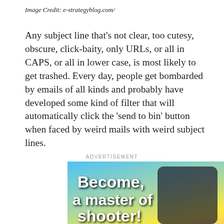Image Credit: e-strategyblog.com/
Any subject line that’s not clear, too cutesy, obscure, click-baity, only URLs, or all in CAPS, or all in lower case, is most likely to get trashed. Every day, people get bombarded by emails of all kinds and probably have developed some kind of filter that will automatically click the ‘send to bin’ button when faced by weird mails with weird subject lines.
ADVERTISEMENT
[Figure (photo): Advertisement banner for a mobile shooter game showing text 'Become a master of shooter!' over colorful game graphics with emoji-style characters on a phone screen.]